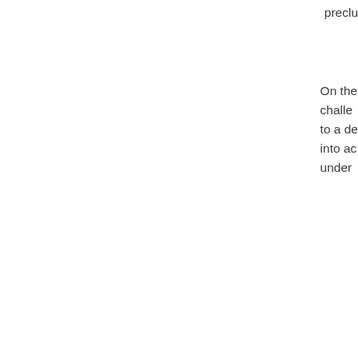preclu
On the challe to a de into ac under
Applyi the de regard and th respon allowi a give conve decidi appell